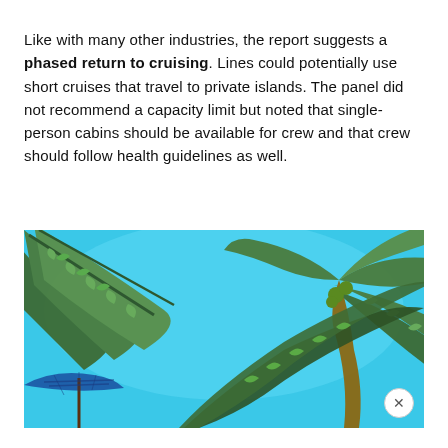Like with many other industries, the report suggests a phased return to cruising. Lines could potentially use short cruises that travel to private islands. The panel did not recommend a capacity limit but noted that single-person cabins should be available for crew and that crew should follow health guidelines as well.
[Figure (photo): A low-angle photograph looking up through tropical palm trees with bright blue sky visible between the fronds. In the lower left corner, a blue striped umbrella or canopy is partially visible.]